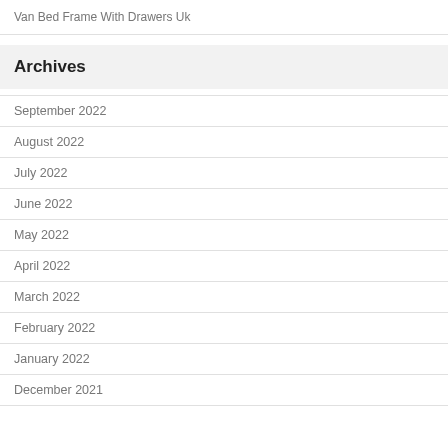Van Bed Frame With Drawers Uk
Archives
September 2022
August 2022
July 2022
June 2022
May 2022
April 2022
March 2022
February 2022
January 2022
December 2021